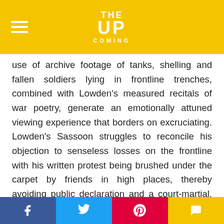THE UP COMING
use of archive footage of tanks, shelling and fallen soldiers lying in frontline trenches, combined with Lowden's measured recitals of war poetry, generate an emotionally attuned viewing experience that borders on excruciating. Lowden's Sassoon struggles to reconcile his objection to senseless losses on the frontline with his written protest being brushed under the carpet by friends in high places, thereby avoiding public declaration and a court-martial. Sassoon lands instead in a military hospital with a diagnosis of trench fever, and it is here that Benediction's palpable queer energy makes its entrance: first through the fraternity that blossoms between Sassoon and young budding poet Wilfred Owen (Matthew Tennyson, doomed to die on the
f  t  p  chat